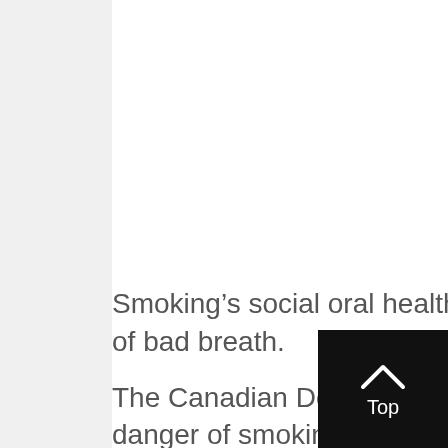Smoking’s social oral health problem is the creation of bad breath.
The Canadian Dental Association warns of the danger of smoking; that smoking additionally damages the body’s immune system. In fact, a